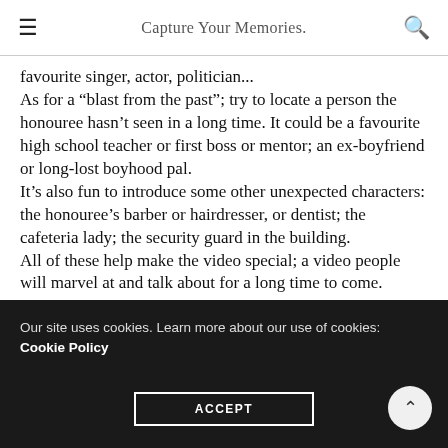Capture Your Memories.
favourite singer, actor, politician...
As for a “blast from the past”; try to locate a person the honouree hasn’t seen in a long time. It could be a favourite high school teacher or first boss or mentor; an ex-boyfriend or long-lost boyhood pal.
It’s also fun to introduce some other unexpected characters: the honouree’s barber or hairdresser, or dentist; the cafeteria lady; the security guard in the building.
All of these help make the video special; a video people will marvel at and talk about for a long time to come.
Our site uses cookies. Learn more about our use of cookies: Cookie Policy
ACCEPT